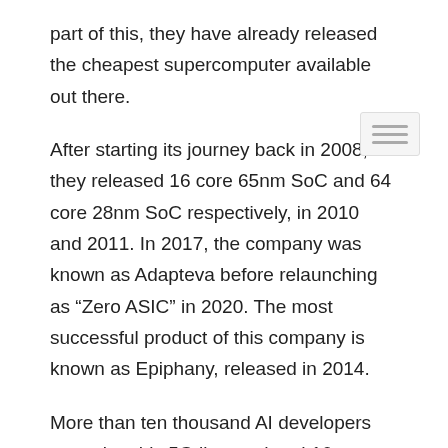part of this, they have already released the cheapest supercomputer available out there.
After starting its journey back in 2008, they released 16 core 65nm SoC and 64 core 28nm SoC respectively, in 2010 and 2011. In 2017, the company was known as Adapteva before relaunching as “Zero ASIC” in 2020. The most successful product of this company is known as Epiphany, released in 2014.
More than ten thousand AI developers are using this 5G licensed and 16 core SoC. Epiphany got the attention due to its capability of parallel and heterogeneous computation. Besides, it can be scaled to billions of processors, making it the only open computing platform. The success of Epiphany will surely help Zero ASIC to